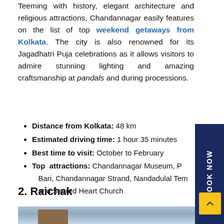Teeming with history, elegant architecture and religious attractions, Chandannagar easily features on the list of top weekend getaways from Kolkata. The city is also renowned for its Jagadhatri Puja celebrations as it allows visitors to admire stunning lighting and amazing craftsmanship at pandals and during processions.
Distance from Kolkata: 48 km
Estimated driving time: 1 hour 35 minutes
Best time to visit: October to February
Top attractions: Chandannagar Museum, P... Bari, Chandannagar Strand, Nandadulal Tem... and Sacred Heart Church
2. Raichak
[Figure (photo): Photo of Raichak showing a building and palm trees]